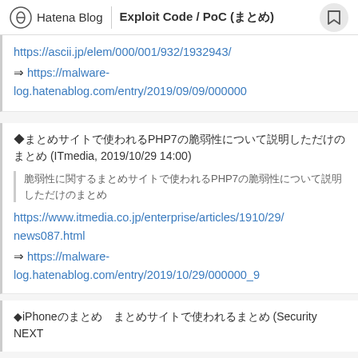Hatena Blog | Exploit Code / PoC (まとめ)
https://ascii.jp/elem/000/001/932/1932943/
⇒ https://malware-log.hatenablog.com/entry/2019/09/09/000000
◆まとめサイトで使われるPHP7の脆弱性について説明しただけのまとめ (ITmedia, 2019/10/29 14:00)
脆弱性に関するまとめサイトで使われるPHP7の脆弱性について説明しただけのまとめ
https://www.itmedia.co.jp/enterprise/articles/1910/29/news087.html
⇒ https://malware-log.hatenablog.com/entry/2019/10/29/000000_9
◆iPhoneのまとめ　まとめサイトで使われるまとめ (Security NEXT